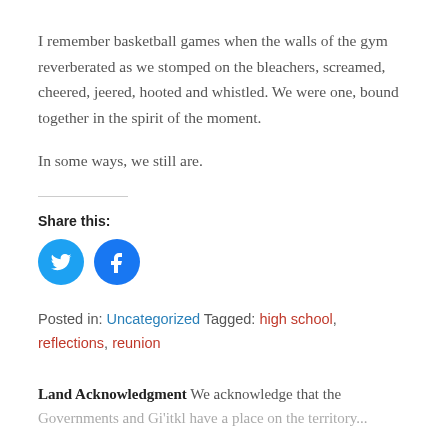I remember basketball games when the walls of the gym reverberated as we stomped on the bleachers, screamed, cheered, jeered, hooted and whistled. We were one, bound together in the spirit of the moment.
In some ways, we still are.
Share this:
[Figure (infographic): Twitter bird icon in a blue circle and Facebook 'f' icon in a blue circle, side by side as social sharing buttons.]
Posted in: Uncategorized Tagged: high school, reflections, reunion
Land Acknowledgment We acknowledge that the Governments and Gi'itkl have a place on the territory...